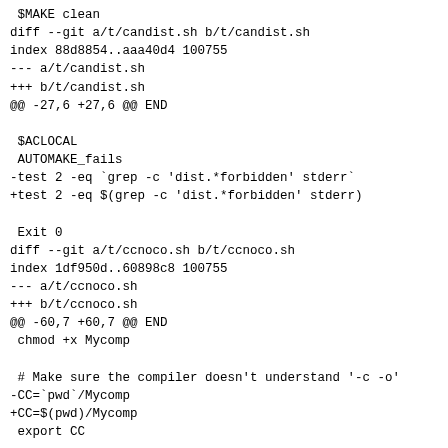$MAKE clean
diff --git a/t/candist.sh b/t/candist.sh
index 88d8854..aaa40d4 100755
--- a/t/candist.sh
+++ b/t/candist.sh
@@ -27,6 +27,6 @@ END

 $ACLOCAL
 AUTOMAKE_fails
-test 2 -eq `grep -c 'dist.*forbidden' stderr`
+test 2 -eq $(grep -c 'dist.*forbidden' stderr)

 Exit 0
diff --git a/t/ccnoco.sh b/t/ccnoco.sh
index 1df950d..60898c8 100755
--- a/t/ccnoco.sh
+++ b/t/ccnoco.sh
@@ -60,7 +60,7 @@ END
 chmod +x Mycomp

 # Make sure the compiler doesn't understand '-c -o'
-CC=`pwd`/Mycomp
+CC=$(pwd)/Mycomp
 export CC

 $ACLOCAL
diff --git a/t/ccnoco3.sh b/t/ccnoco3.sh
index 5069a7c..a17ebc7 100755
--- a/t/ccnoco3.sh
+++ b/t/ccnoco3.sh